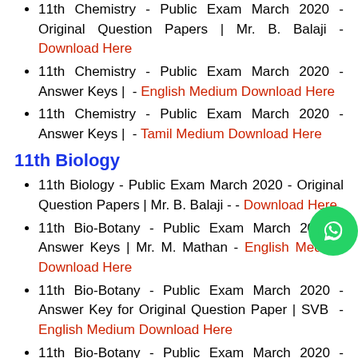11th Chemistry - Public Exam March 2020 - Original Question Papers | Mr. B. Balaji - Download Here
11th Chemistry - Public Exam March 2020 - Answer Keys |  - English Medium Download Here
11th Chemistry - Public Exam March 2020 - Answer Keys |  - Tamil Medium Download Here
11th Biology
11th Biology - Public Exam March 2020 - Original Question Papers | Mr. B. Balaji - - Download Here
11th Bio-Botany - Public Exam March 2020 - Answer Keys | Mr. M. Mathan - English Medium Download Here
11th Bio-Botany - Public Exam March 2020 - Answer Key for Original Question Paper | SVB  - English Medium Download Here
11th Bio-Botany - Public Exam March 2020 - Answer Key for Original Question Paper  | SVB - Tamil Medium Download Here
11th Bio-Zoology - Public Exam March 2020 -